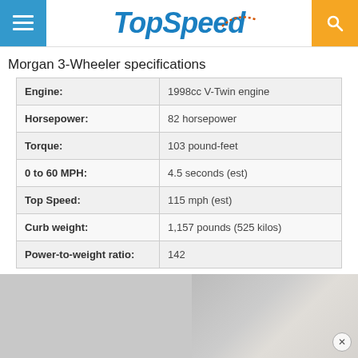TopSpeed
Morgan 3-Wheeler specifications
| Engine: | 1998cc V-Twin engine |
| Horsepower: | 82 horsepower |
| Torque: | 103 pound-feet |
| 0 to 60 MPH: | 4.5 seconds (est) |
| Top Speed: | 115 mph (est) |
| Curb weight: | 1,157 pounds (525 kilos) |
| Power-to-weight ratio: | 142 |
[Figure (photo): Two photo thumbnails at the bottom of the page — left is a grey placeholder, right shows a partial image of the Morgan 3-Wheeler with an X close button]